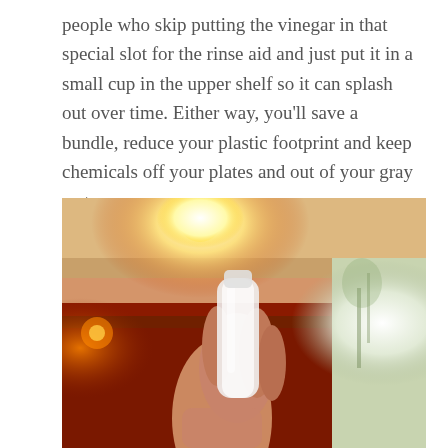people who skip putting the vinegar in that special slot for the rinse aid and just put it in a small cup in the upper shelf so it can splash out over time. Either way, you'll save a bundle, reduce your plastic footprint and keep chemicals off your plates and out of your gray water.
[Figure (photo): A hand holding a clear bottle or cup up toward a warm, orange-lit interior ceiling with a bright glowing light fixture overhead. The background shows reddish-orange walls and a bright window with sunlight streaming in.]